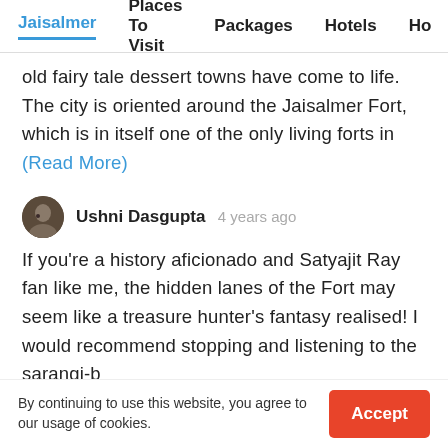Jaisalmer | Places To Visit | Packages | Hotels | Ho
old fairy tale dessert towns have come to life. The city is oriented around the Jaisalmer Fort, which is in itself one of the only living forts in (Read More)
Ushni Dasgupta  4 years ago
If you're a history aficionado and Satyajit Ray fan like me, the hidden lanes of the Fort may seem like a treasure hunter's fantasy realised! I would recommend stopping and listening to the sarangi-b (Read More)
View All Reviews About Jaisalmer
By continuing to use this website, you agree to our usage of cookies.